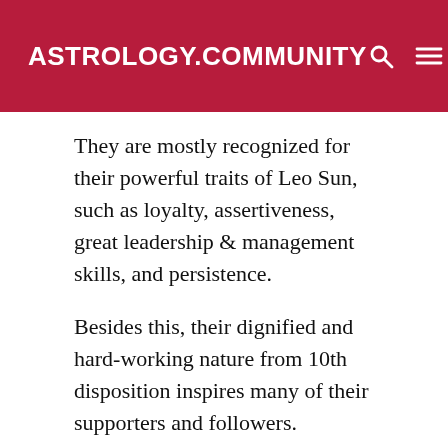ASTROLOGY.COMMUNITY
They are mostly recognized for their powerful traits of Leo Sun, such as loyalty, assertiveness, great leadership & management skills, and persistence.
Besides this, their dignified and hard-working nature from 10th disposition inspires many of their supporters and followers.
This lunar day is represented by the planet of beauty, harmony, justice, and diplomacy Venus. It endows these individuals with many important qualities that make them even more